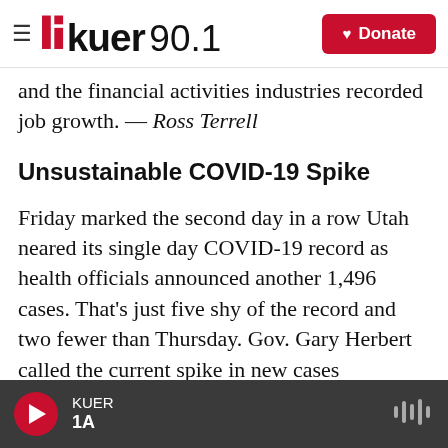KUER 90.1
and the financial activities industries recorded job growth. — Ross Terrell
Unsustainable COVID-19 Spike
Friday marked the second day in a row Utah neared its single day COVID-19 record as health officials announced another 1,496 cases. That's just five shy of the record and two fewer than Thursday. Gov. Gary Herbert called the current spike in new cases "unsustainable" and warned if the state doesn't get it under control, health officials expect four more counties to be moved
KUER | 1A